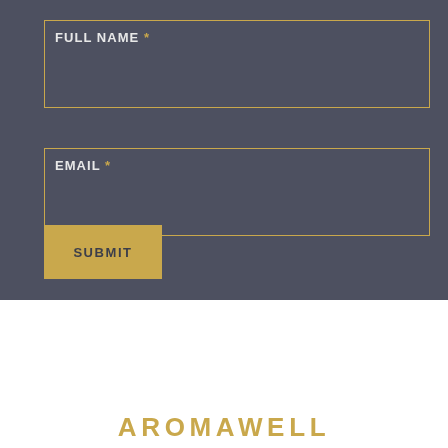FULL NAME *
EMAIL *
SUBMIT
[Figure (logo): Aromawell logo mark — two chevron/arrow shapes with a water drop, rendered in gold outline on white background]
Let us help.
AROMAWELL (partial, cut off at bottom)